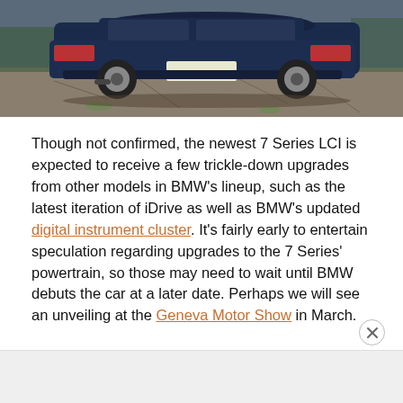[Figure (photo): A dark navy blue BMW 7 Series sedan photographed from the rear three-quarter angle, parked on a cracked concrete surface with green grass patches. The car has alloy wheels and a visible license plate.]
Though not confirmed, the newest 7 Series LCI is expected to receive a few trickle-down upgrades from other models in BMW's lineup, such as the latest iteration of iDrive as well as BMW's updated digital instrument cluster. It's fairly early to entertain speculation regarding upgrades to the 7 Series' powertrain, so those may need to wait until BMW debuts the car at a later date. Perhaps we will see an unveiling at the Geneva Motor Show in March.